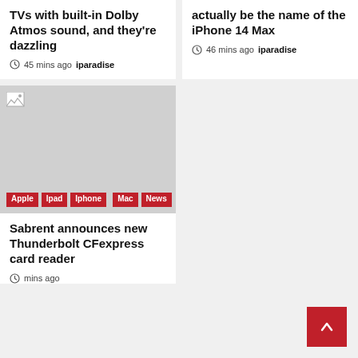TVs with built-in Dolby Atmos sound, and they're dazzling
45 mins ago  iparadise
actually be the name of the iPhone 14 Max
46 mins ago  iparadise
[Figure (photo): Image placeholder with broken image icon and category tags: Apple, Ipad, Iphone, Mac, News]
Sabrent announces new Thunderbolt CFexpress card reader
clock icon mins ago iparadise